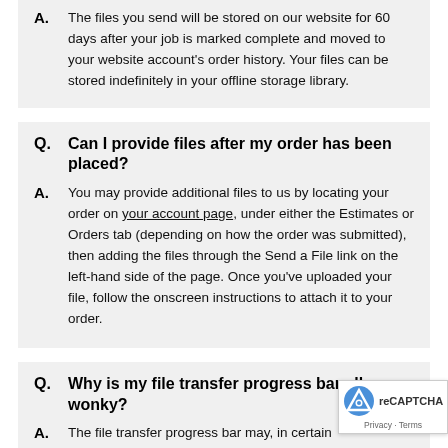A. The files you send will be stored on our website for 60 days after your job is marked complete and moved to your website account's order history. Your files can be stored indefinitely in your offline storage library.
Q. Can I provide files after my order has been placed?
A. You may provide additional files to us by locating your order on your account page, under either the Estimates or Orders tab (depending on how the order was submitted), then adding the files through the Send a File link on the left-hand side of the page. Once you've uploaded your file, follow the onscreen instructions to attach it to your order.
Q. Why is my file transfer progress bar all wonky?
A. The file transfer progress bar may, in certain circumstances, appear to be making progress, then move back and forth and appear to make no progress. This "wonkiness" doesn't happen often, but when it does there's a perfectly logical, albeit somewhat